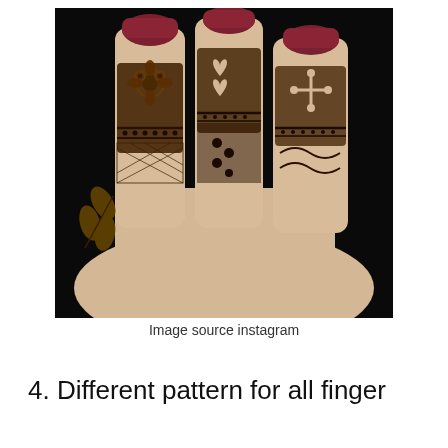[Figure (photo): A close-up photograph of a hand with intricate henna (mehndi) designs on the fingers. Three fingers are visible with red nail polish. Each finger has a different traditional henna pattern: the left finger has floral and owl motifs with leaf designs on the side; the middle finger has heart and lattice patterns; the right finger has cross/flower and scroll patterns. The background is black.]
Image source instagram
4. Different pattern for all finger